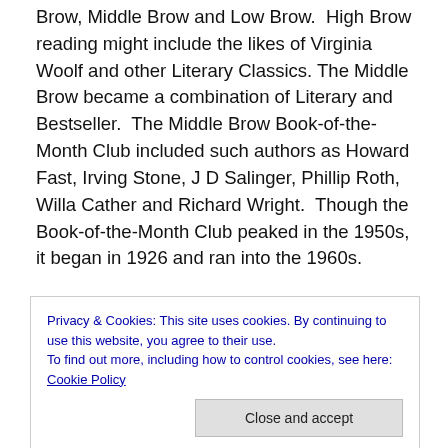Brow, Middle Brow and Low Brow. High Brow reading might include the likes of Virginia Woolf and other Literary Classics. The Middle Brow became a combination of Literary and Bestseller. The Middle Brow Book-of-the-Month Club included such authors as Howard Fast, Irving Stone, J D Salinger, Phillip Roth, Willa Cather and Richard Wright. Though the Book-of-the-Month Club peaked in the 1950s, it began in 1926 and ran into the 1960s.
The 1960s is often known as the De-Mythologizing Decade. Allan Bloom's book The Closing of The American Mind talks about the changes in education during this
Privacy & Cookies: This site uses cookies. By continuing to use this website, you agree to their use.
To find out more, including how to control cookies, see here: Cookie Policy
No, they were told it was good for them to be able to